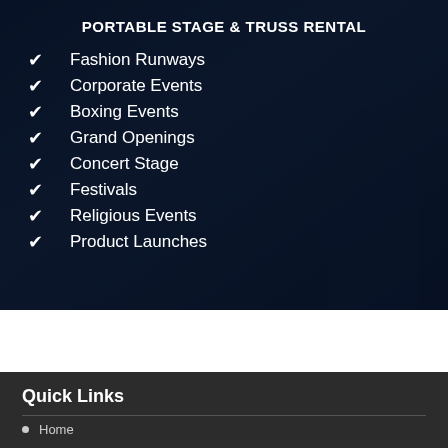PORTABLE STAGE & TRUSS RENTAL
Fashion Runways
Corporate Events
Boxing Events
Grand Openings
Concert Stage
Festivals
Religious Events
Product Launches
Quick Links
Home